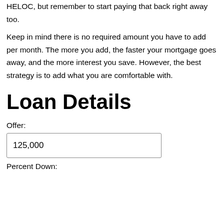HELOC, but remember to start paying that back right away too.
Keep in mind there is no required amount you have to add per month. The more you add, the faster your mortgage goes away, and the more interest you save. However, the best strategy is to add what you are comfortable with.
Loan Details
Offer:
125,000
Percent Down: